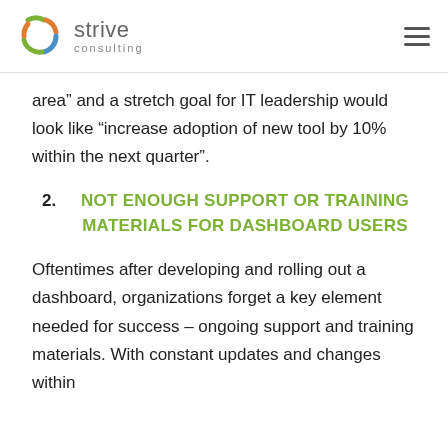strive consulting
area” and a stretch goal for IT leadership would look like “increase adoption of new tool by 10% within the next quarter”.
2. NOT ENOUGH SUPPORT OR TRAINING MATERIALS FOR DASHBOARD USERS
Oftentimes after developing and rolling out a dashboard, organizations forget a key element needed for success – ongoing support and training materials. With constant updates and changes within